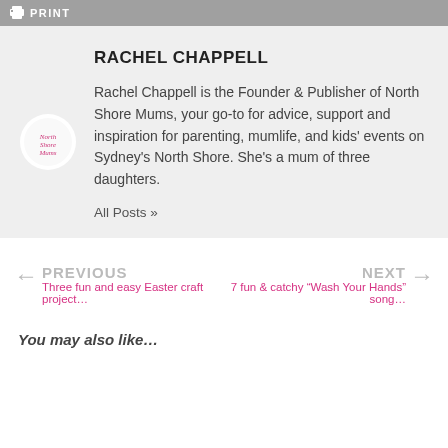PRINT
RACHEL CHAPPELL
Rachel Chappell is the Founder & Publisher of North Shore Mums, your go-to for advice, support and inspiration for parenting, mumlife, and kids' events on Sydney's North Shore. She's a mum of three daughters.
All Posts »
← PREVIOUS
Three fun and easy Easter craft project…
NEXT →
7 fun & catchy "Wash Your Hands" song…
You may also like…